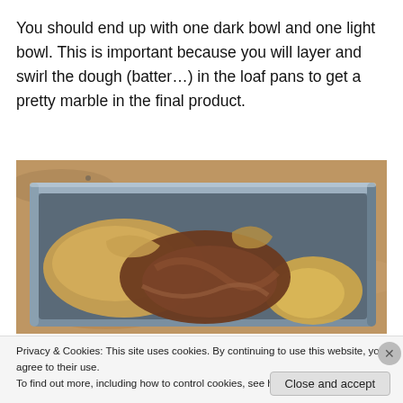You should end up with one dark bowl and one light bowl. This is important because you will layer and swirl the dough (batter…) in the loaf pans to get a pretty marble in the final product.
[Figure (photo): Photo of a metal loaf pan containing swirled dark and light dough/batter on a granite countertop, showing the marbling effect before baking.]
Privacy & Cookies: This site uses cookies. By continuing to use this website, you agree to their use. To find out more, including how to control cookies, see here: Cookie Policy